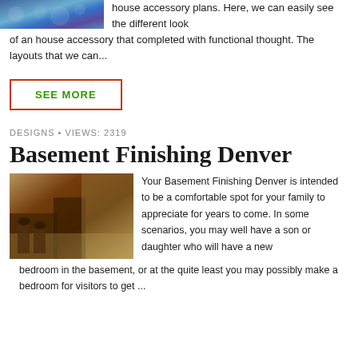[Figure (photo): Partial view of house accessory/decorative items with blue tones]
house accessory plans. Here, we can easily see the different look of an house accessory that completed with functional thought. The layouts that we can...
SEE MORE
DESIGNS • VIEWS: 2319
Basement Finishing Denver
[Figure (photo): Basement interior with dark wood bar area and staircase with lighting]
Your Basement Finishing Denver is intended to be a comfortable spot for your family to appreciate for years to come. In some scenarios, you may well have a son or daughter who will have a new bedroom in the basement, or at the quite least you may possibly make a bedroom for visitors to get ...